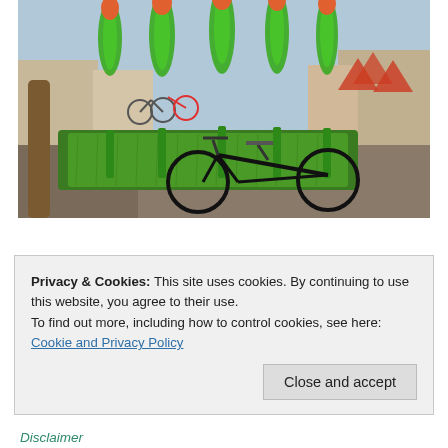[Figure (photo): Outdoor photo showing large green tulip-shaped bicycle racks on artificial grass in a city square. Several bicycles are parked, including a prominent black Gazelle bicycle in the foreground. Red umbrellas and buildings visible in background.]
Privacy & Cookies: This site uses cookies. By continuing to use this website, you agree to their use.
To find out more, including how to control cookies, see here:
Cookie and Privacy Policy
Close and accept
Disclaimer